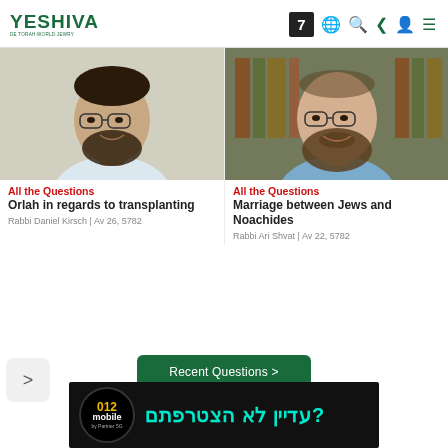YESHIVA
[Figure (photo): Portrait of Rabbi Daniel Kirsch, smiling man with glasses and beard, wearing white shirt]
All the Questions
Orlah in regards to transplanting
Rabbi Daniel Kirsch | Av 26, 5782
[Figure (photo): Portrait of Rabbi Ari Shvat, bearded man with glasses smiling, bookshelves in background]
All the Questions
Marriage between Jews and Noachides
Rabbi Ari Shvat | Av 22, 5782
Recent Questions >
[Figure (advertisement): 012 mobile by Partner 5G advertisement in Hebrew: עדיין לא הצטרפתם?]